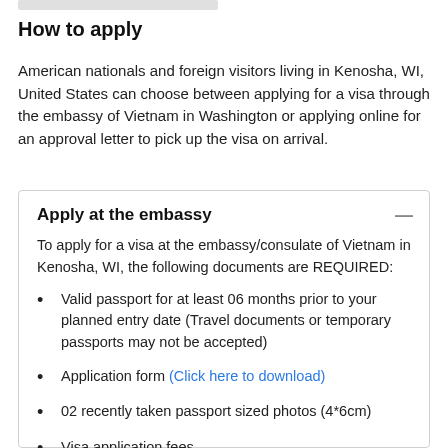How to apply
American nationals and foreign visitors living in Kenosha, WI, United States can choose between applying for a visa through the embassy of Vietnam in Washington or applying online for an approval letter to pick up the visa on arrival.
Apply at the embassy
To apply for a visa at the embassy/consulate of Vietnam in Kenosha, WI, the following documents are REQUIRED:
Valid passport for at least 06 months prior to your planned entry date (Travel documents or temporary passports may not be accepted)
Application form (Click here to download)
02 recently taken passport sized photos (4*6cm)
Visa application fees